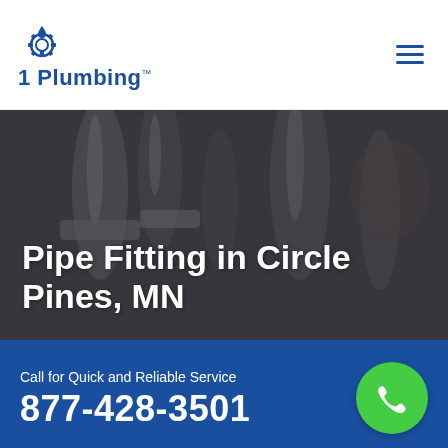1 Plumbing
Pipe Fitting in Circle Pines, MN
Home > Circle Pines > Pipe Fitting Circle Pines
Looking For Top-Rated Services of Pipe Fitting in Circle Pines, MN? 1-Plumbing Offers Superior Water And
Call for Quick and Reliable Service 877-428-3501